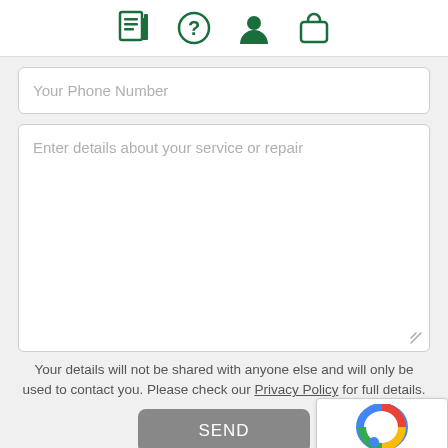Navigation icons: document, help/question, user profile, shopping bag
Your Phone Number
Enter details about your service or repair
Your details will not be shared with anyone else and will only be used to contact you. Please check our Privacy Policy for full details.
SEND